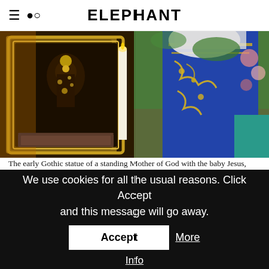ELEPHANT
[Figure (photo): Two side-by-side photographs: left shows an early Gothic statue of a standing Mother of God with baby Jesus, ornate gold frame, c1330 Bavaria; right shows Verge d'Itati Corrientes, Argentina, with blue and gold embroidered robe and floral decorations.]
The early Gothic statue of a standing Mother of God with the baby Jesus, c1330, Bavaria (left). Verge d'Itati Corrientes, Argentina, dab l'autorizacion de l'Arqibisbat (Arzobispado de Corrientes) (right).
We use cookies for all the usual reasons. Click Accept and this message will go away.
Accept
More Info